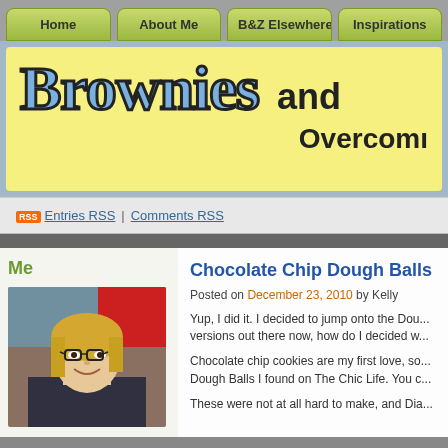Home | About Me | B&Z Elsewhere | Inspirations
[Figure (screenshot): Blog header banner with 'Brownies and...' site title on yellow background with blue border, subtitle 'Overcoming...']
Entries RSS | Comments RSS
Chocolate Chip Dough Balls
Posted on December 23, 2010 by Kelly
Yup, I did it. I decided to jump onto the Dou... versions out there now, how do I decided w...
Chocolate chip cookies are my first love, so... Dough Balls I found on The Chic Life. You c...
These were not at all hard to make, and Dia...
[Figure (photo): Photo of a blonde woman with glasses, smiling, partial view in sidebar]